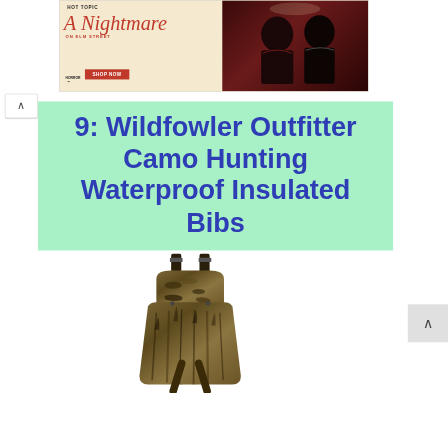[Figure (photo): Hot Topic advertisement banner for A Nightmare on Elm Street merchandise. Shows the movie title in red italic script, 'ON ELM STREET' text, a red 'SHOP NOW' button, horror badge, and photo of two models wearing dark graphic t-shirts against a dark red background.]
9: Wildfowler Outfitter Camo Hunting Waterproof Insulated Bibs
[Figure (photo): Product photo of camouflage hunting bib overalls/waders in a brown/tan grassland camo pattern, shown flat with straps visible at top.]